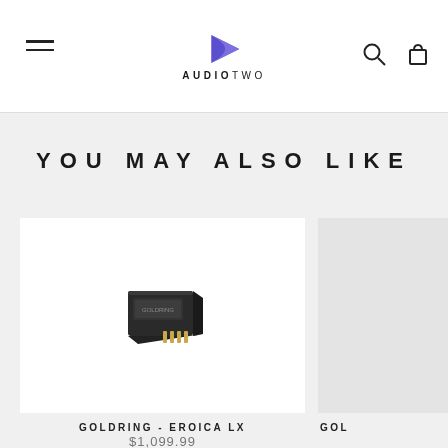AudioTwo header with menu, logo, search and cart icons
YOU MAY ALSO LIKE
[Figure (photo): Product photo of Goldring Eroica LX phono cartridge, a small black rectangular device with gold pins]
GOLDRING - EROICA LX
$1,099.99
[Figure (photo): Partially visible second product card (GOL...)]